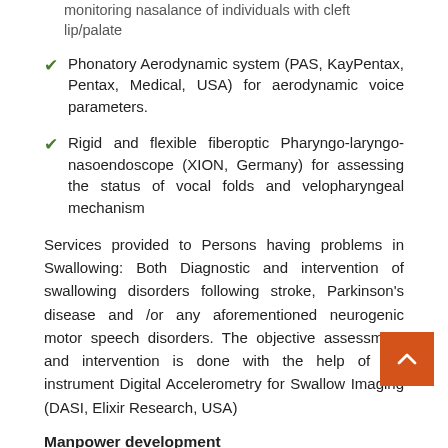monitoring nasalance of individuals with cleft lip/palate
Phonatory Aerodynamic system (PAS, KayPentax, Pentax, Medical, USA) for aerodynamic voice parameters.
Rigid and flexible fiberoptic Pharyngo-laryngo-nasoendoscope (XION, Germany) for assessing the status of vocal folds and velopharyngeal mechanism
Services provided to Persons having problems in Swallowing: Both Diagnostic and intervention of swallowing disorders following stroke, Parkinson's disease and /or any aforementioned neurogenic motor speech disorders. The objective assessment and intervention is done with the help of the instrument Digital Accelerometry for Swallow Imaging (DASI, Elixir Research, USA)
Manpower development
Trained skilled manpower is essential for conducting d  is and for providing rehabilitative services. In the country t  a paucity of trained professionals to deal with the above.Hence, to fulfill such needs the Institute provides various under graduate and post graduate courses in the area of speech, hearing and education of hearing impaired and other speech-language